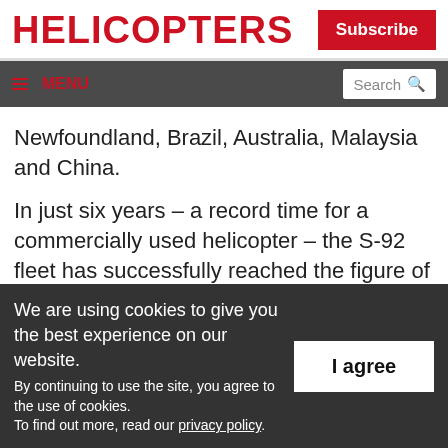HELICOPTERS
Subscribe
≡ MENU  Search 🔍
Newfoundland, Brazil, Australia, Malaysia and China.
In just six years – a record time for a commercially used helicopter – the S-92 fleet has successfully reached the figure of 250,000 flight hours, having entered service in
We are using cookies to give you the best experience on our website.
By continuing to use the site, you agree to the use of cookies.
To find out more, read our privacy policy.
I agree